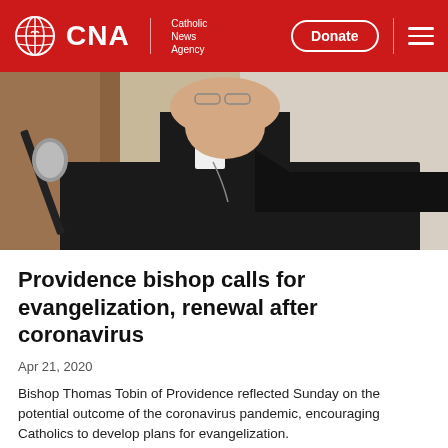CNA | Catholic News Agency — Donate
[Figure (photo): Close-up photo of a Catholic bishop wearing clerical collar and dark suit jacket, speaking at a microphone. A wooden podium is visible on the left.]
Providence bishop calls for evangelization, renewal after coronavirus
Apr 21, 2020
Bishop Thomas Tobin of Providence reflected Sunday on the potential outcome of the coronavirus pandemic, encouraging Catholics to develop plans for evangelization.